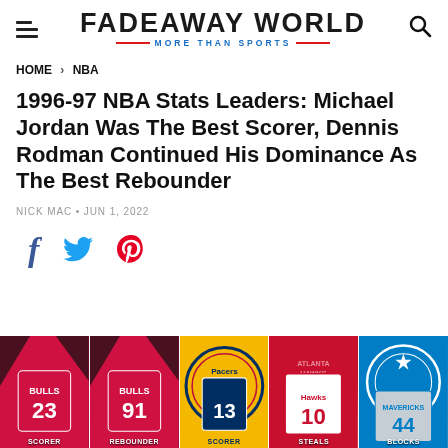FADEAWAY WORLD — MORE THAN SPORTS
HOME > NBA
1996-97 NBA Stats Leaders: Michael Jordan Was The Best Scorer, Dennis Rodman Continued His Dominance As The Best Rebounder
NICK MAC · JUN 1, 2022
[Figure (infographic): Social share icons: Facebook (f), Twitter (bird), Pinterest (p) in blue, light blue, and red respectively]
[Figure (photo): Five NBA player cards shown side by side: Michael Jordan (Bulls #23), Dennis Rodman (Bulls #91), a Pacers player (#13), an Atlanta Hawks player (#10), and a Mavericks player (#44). Labels at bottom partially visible.]